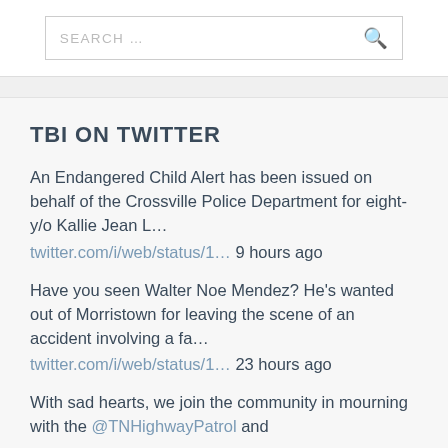SEARCH ...
TBI ON TWITTER
An Endangered Child Alert has been issued on behalf of the Crossville Police Department for eight-y/o Kallie Jean L...
twitter.com/i/web/status/1... 9 hours ago
Have you seen Walter Noe Mendez? He's wanted out of Morristown for leaving the scene of an accident involving a fa...
twitter.com/i/web/status/1... 23 hours ago
With sad hearts, we join the community in mourning with the @TNHighwayPatrol and